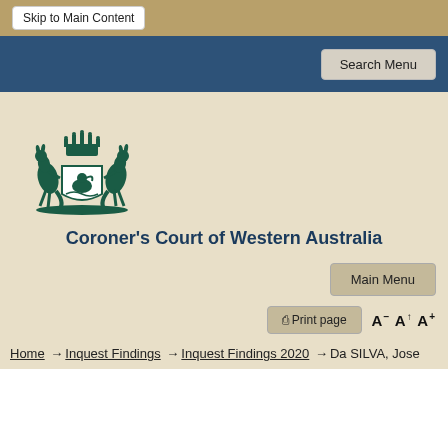Skip to Main Content
Search Menu
[Figure (logo): Coat of Arms of Western Australia featuring two kangaroos holding a shield with a black swan, topped with a crown]
Coroner's Court of Western Australia
Main Menu
Print page  A- A A+
Home → Inquest Findings → Inquest Findings 2020 → Da SILVA, Jose